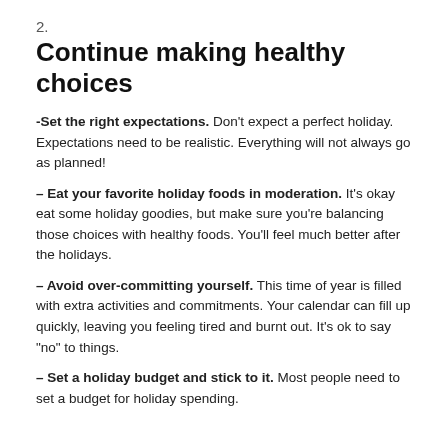2.
Continue making healthy choices
-Set the right expectations. Don't expect a perfect holiday. Expectations need to be realistic. Everything will not always go as planned!
– Eat your favorite holiday foods in moderation. It's okay eat some holiday goodies, but make sure you're balancing those choices with healthy foods. You'll feel much better after the holidays.
– Avoid over-committing yourself. This time of year is filled with extra activities and commitments. Your calendar can fill up quickly, leaving you feeling tired and burnt out. It's ok to say “no” to things.
– Set a holiday budget and stick to it. Most people need to set a budget for holiday spending.